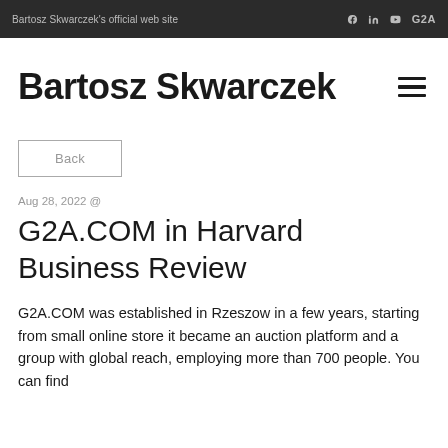Bartosz Skwarczek's official web site
Bartosz Skwarczek
Back
Aug 28, 2022 @
G2A.COM in Harvard Business Review
G2A.COM was established in Rzeszow in a few years, starting from small online store it became an auction platform and a group with global reach, employing more than 700 people. You can find